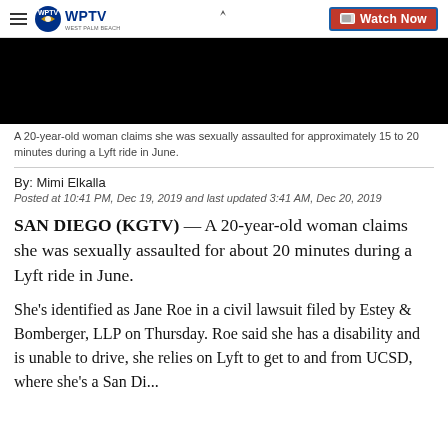WPTV West Palm Beach | Watch Now
[Figure (screenshot): Black video player thumbnail]
A 20-year-old woman claims she was sexually assaulted for approximately 15 to 20 minutes during a Lyft ride in June.
By: Mimi Elkalla
Posted at 10:41 PM, Dec 19, 2019 and last updated 3:41 AM, Dec 20, 2019
SAN DIEGO (KGTV) — A 20-year-old woman claims she was sexually assaulted for about 20 minutes during a Lyft ride in June.
She's identified as Jane Roe in a civil lawsuit filed by Estey & Bomberger, LLP on Thursday. Roe said she has a disability and is unable to drive, she relies on Lyft to get to and from UCSD, where she's a San Di...